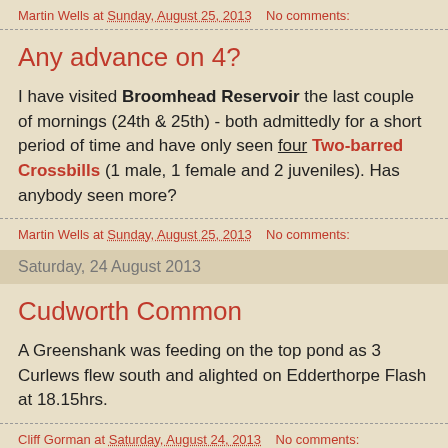Martin Wells at Sunday, August 25, 2013    No comments:
Any advance on 4?
I have visited Broomhead Reservoir the last couple of mornings (24th & 25th) - both admittedly for a short period of time and have only seen four Two-barred Crossbills (1 male, 1 female and 2 juveniles). Has anybody seen more?
Martin Wells at Sunday, August 25, 2013    No comments:
Saturday, 24 August 2013
Cudworth Common
A Greenshank was feeding on the top pond as 3 Curlews flew south and alighted on Edderthorpe Flash at 18.15hrs.
Cliff Gorman at Saturday, August 24, 2013    No comments: